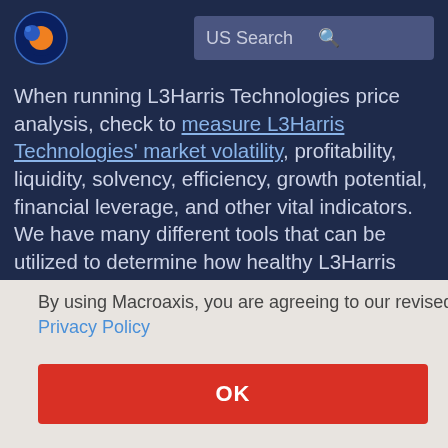US Search
When running L3Harris Technologies price analysis, check to measure L3Harris Technologies' market volatility, profitability, liquidity, solvency, efficiency, growth potential, financial leverage, and other vital indicators. We have many different tools that can be utilized to determine how healthy L3Harris Technologies is operating at the current [time]. [...] the price [...] peers [...] that [...] may [...] to your portfolios can decrease your overall portfolio volatility
By using Macroaxis, you are agreeing to our revised Privacy Policy
OK